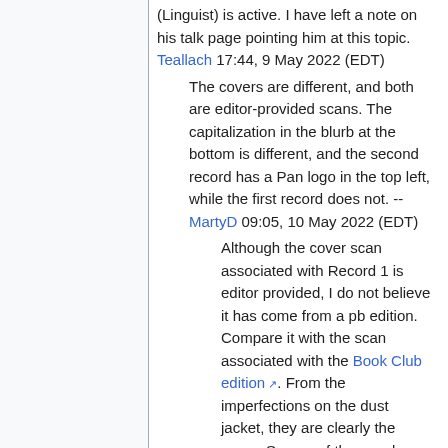(Linguist) is active. I have left a note on his talk page pointing him at this topic. Teallach 17:44, 9 May 2022 (EDT)
The covers are different, and both are editor-provided scans. The capitalization in the blurb at the bottom is different, and the second record has a Pan logo in the top left, while the first record does not. -- MartyD 09:05, 10 May 2022 (EDT)
Although the cover scan associated with Record 1 is editor provided, I do not believe it has come from a pb edition. Compare it with the scan associated with the Book Club edition. From the imperfections on the dust jacket, they are clearly the same. So one of these pub records has re-used the scan from the other. I strongly suspect the Book Club has the correct scan. The hc eds (Pan trade and Book Club) have the cover with no Pan logo to top left. The early Pan pb's have the cover with the Pan